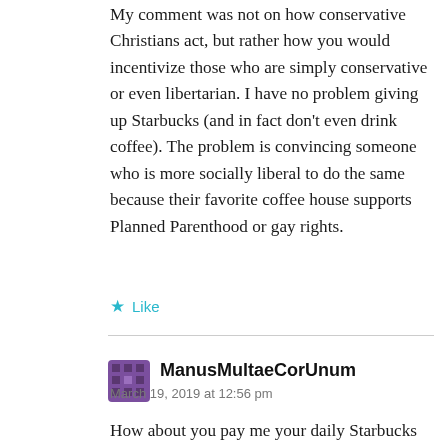My comment was not on how conservative Christians act, but rather how you would incentivize those who are simply conservative or even libertarian. I have no problem giving up Starbucks (and in fact don't even drink coffee). The problem is convincing someone who is more socially liberal to do the same because their favorite coffee house supports Planned Parenthood or gay rights.
★ Like
ManusMultaeCorUnum
March 19, 2019 at 12:56 pm
How about you pay me your daily Starbucks money for the next three years, and I'll come and set up a top of the line hand made Italian Cappuccino machine in your home or office? For another $200